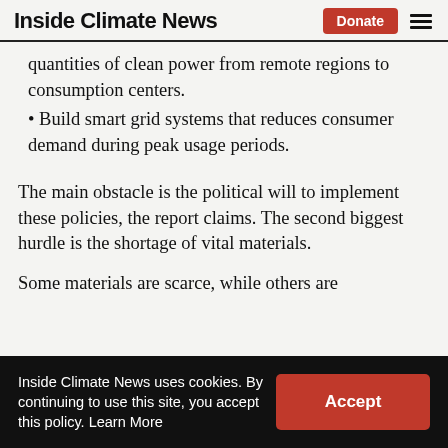Inside Climate News
quantities of clean power from remote regions to consumption centers.
Build smart grid systems that reduces consumer demand during peak usage periods.
The main obstacle is the political will to implement these policies, the report claims. The second biggest hurdle is the shortage of vital materials.
Some materials are scarce, while others are
Inside Climate News uses cookies. By continuing to use this site, you accept this policy. Learn More